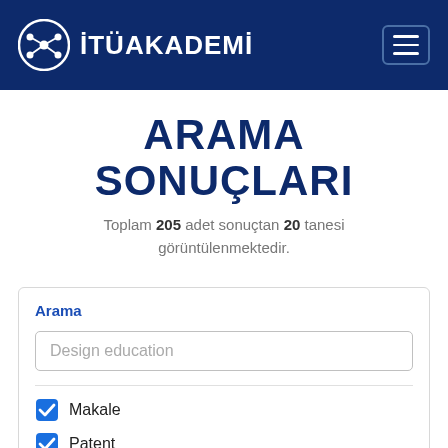İTÜAKADEMİ
ARAMA SONUÇLARI
Toplam 205 adet sonuçtan 20 tanesi görüntülenmektedir.
Arama
Design education
Makale
Patent
Proje